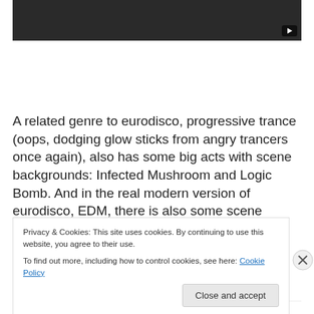[Figure (screenshot): Dark gray video player area with a small play button in the bottom right corner]
A related genre to eurodisco, progressive trance (oops, dodging glow sticks from angry trancers once again), also has some big acts with scene backgrounds: Infected Mushroom and Logic Bomb. And in the real modern version of eurodisco, EDM, there is also some scene
Privacy & Cookies: This site uses cookies. By continuing to use this website, you agree to their use.
To find out more, including how to control cookies, see here: Cookie Policy
Close and accept